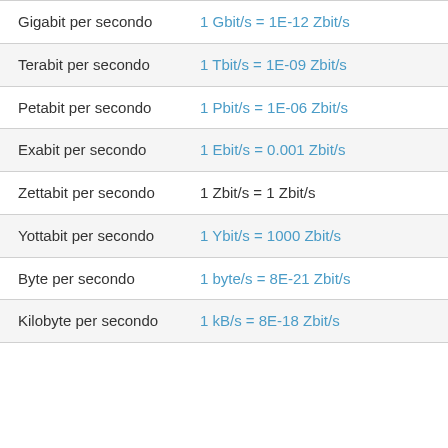| Unit | Conversion |
| --- | --- |
| Gigabit per secondo | 1 Gbit/s = 1E-12 Zbit/s |
| Terabit per secondo | 1 Tbit/s = 1E-09 Zbit/s |
| Petabit per secondo | 1 Pbit/s = 1E-06 Zbit/s |
| Exabit per secondo | 1 Ebit/s = 0.001 Zbit/s |
| Zettabit per secondo | 1 Zbit/s = 1 Zbit/s |
| Yottabit per secondo | 1 Ybit/s = 1000 Zbit/s |
| Byte per secondo | 1 byte/s = 8E-21 Zbit/s |
| Kilobyte per secondo | 1 kB/s = 8E-18 Zbit/s |